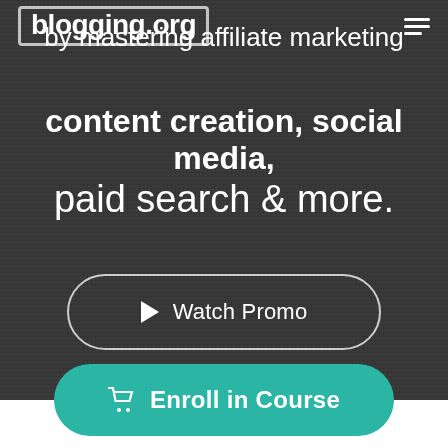blogging.org
by mastering affiliate marketing content creation, social media, paid search & more.
[Figure (screenshot): Watch Promo button with play icon, outlined pill-shaped button on dark background]
[Figure (screenshot): Enroll in Course button with cart icon, teal pill-shaped button on dark background]